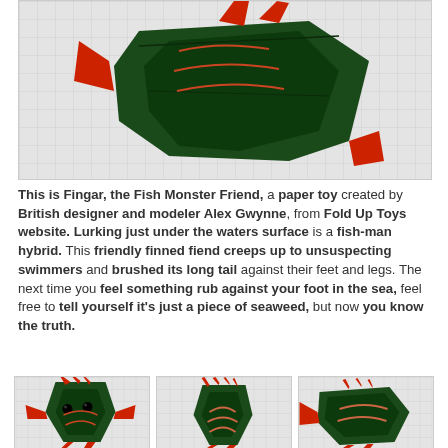[Figure (photo): A dark green and red paper toy fish monster (Fingar) photographed from above on a white grid background. The figure has red fins and a dark body folded from paper.]
This is Fingar, the Fish Monster Friend, a paper toy created by British designer and modeler Alex Gwynne, from Fold Up Toys website. Lurking just under the waters surface is a fish-man hybrid. This friendly finned fiend creeps up to unsuspecting swimmers and brushed its long tail against their feet and legs. The next time you feel something rub against your foot in the sea, feel free to tell yourself it's just a piece of seaweed, but now you know the truth.
[Figure (photo): Front view of Fingar paper toy fish monster, dark green with red fins, showing face with eyes, on grid background.]
[Figure (photo): Middle view of Fingar paper toy fish monster, dark green with red spiky fins on top, on grid background.]
[Figure (photo): Side view of Fingar paper toy fish monster, dark green with red fins, on grid background.]